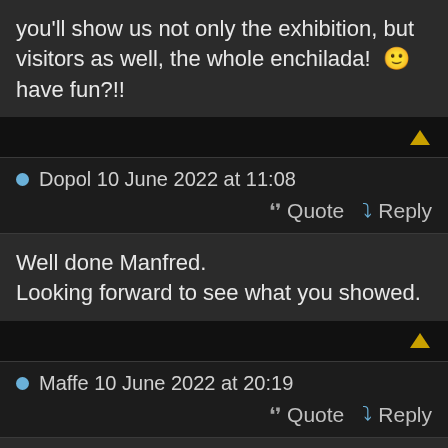you'll show us not only the exhibition, but visitors as well, the whole enchilada! 🙂 have fun?!!
Dopol 10 June 2022 at 11:08
Quote  Reply
Well done Manfred.
Looking forward to see what you showed.
Maffe 10 June 2022 at 20:19
Quote  Reply
@Fred_S, angora and Dopol you're welcome to come over and visit for the weekend, take